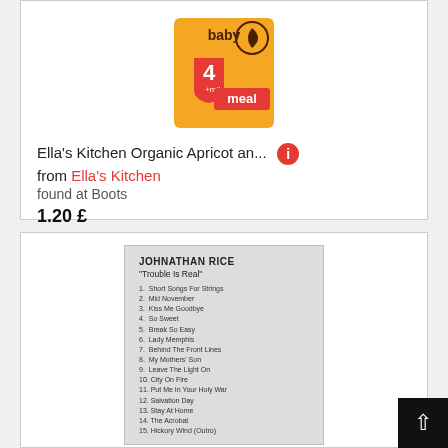[Figure (photo): Baby food product image - Ella's Kitchen Organic Apricot, orange packaging with '4+ mth meal' label]
Ella's Kitchen Organic Apricot an...
from Ella's Kitchen
found at Boots
1.20 £
Shipping costs: Details
[Figure (photo): CD back cover for Johnathan Rice 'Trouble Is Real' showing tracklist: 1. Short Songs For Strings, 2. Mid November, 3. Kiss Me Goodbye, 4. So Sweet, 5. Break So Easy, 6. Lady Memphis, 7. Behind The Front Lines, 8. My Mothers' Son, 9. Leave The Light On, 10. City On Fire, 11. Put Me In Your Holy War, 12. Salvation Day, 13. Stay At Home, 14. The Acrobat, 15. Hickory Wind (Outro)]